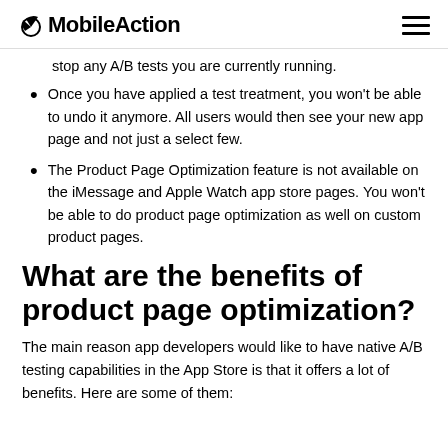MobileAction
stop any A/B tests you are currently running.
Once you have applied a test treatment, you won't be able to undo it anymore. All users would then see your new app page and not just a select few.
The Product Page Optimization feature is not available on the iMessage and Apple Watch app store pages. You won't be able to do product page optimization as well on custom product pages.
What are the benefits of product page optimization?
The main reason app developers would like to have native A/B testing capabilities in the App Store is that it offers a lot of benefits. Here are some of them: